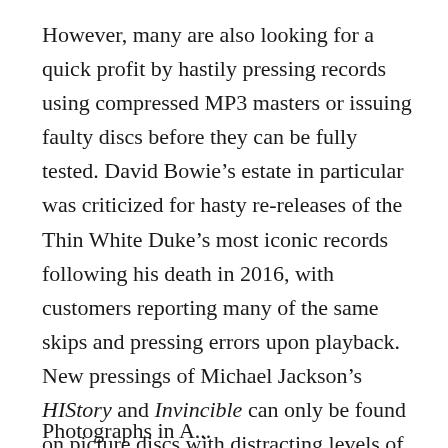However, many are also looking for a quick profit by hastily pressing records using compressed MP3 masters or issuing faulty discs before they can be fully tested. David Bowie's estate in particular was criticized for hasty re-releases of the Thin White Duke's most iconic records following his death in 2016, with customers reporting many of the same skips and pressing errors upon playback. New pressings of Michael Jackson's HIStory and Invincible can only be found on picture discs with distracting levels of surface noise caused by the printed images on the record. Even artists themselves are not above taking shortcuts. Prince was subject to irritation from fans after the discovery that his 2015 “remaster” of Purple Rain was sourced from compressed digital files.
Photographs in A...